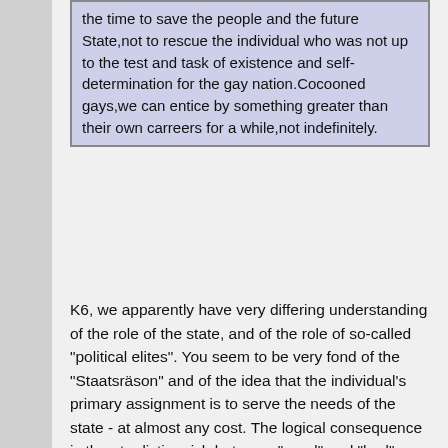the time to save the people and the future State,not to rescue the individual who was not up to the test and task of existence and self-determination for the gay nation.Cocooned gays,we can entice by something greater than their own carreers for a while,not indefinitely.
K6, we apparently have very differing understanding of the role of the state, and of the role of so-called "political elites". You seem to be very fond of the "Staatsräson" and of the idea that the individual's primary assignment is to serve the needs of the state - at almost any cost. The logical consequence is then to distinguish between "good" and "bad", clearly "worthy" and "worthless" citizens - depending on how much they can be used for the purposes of the state leadership. Brain-